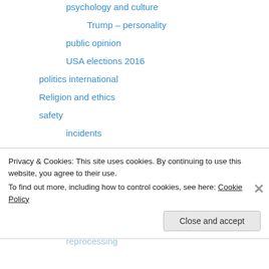psychology and culture
Trump – personality
public opinion
USA elections 2016
politics international
Religion and ethics
safety
incidents
secrets,lies and civil liberties
civil liberties
spinbuster
Education
technology
reprocessing
Privacy & Cookies: This site uses cookies. By continuing to use this website, you agree to their use.
To find out more, including how to control cookies, see here: Cookie Policy
Close and accept